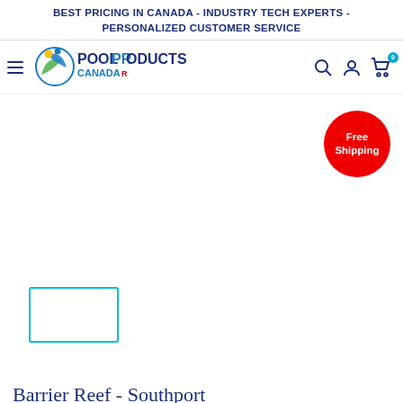BEST PRICING IN CANADA - INDUSTRY TECH EXPERTS - PERSONALIZED CUSTOMER SERVICE
[Figure (logo): Pool Products Canada logo with circular icon and text]
[Figure (infographic): Red circular Free Shipping badge]
[Figure (other): Small teal-bordered thumbnail image placeholder]
Barrier Reef - Southport